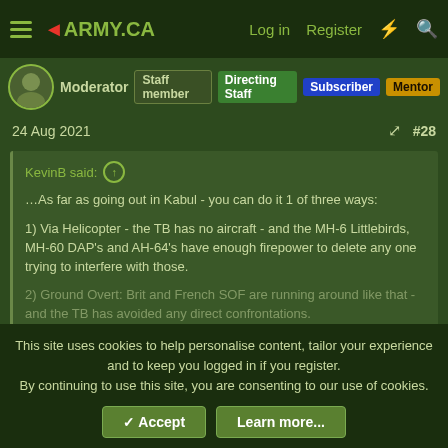4ARMY.CA — Log in | Register
Moderator | Staff member | Directing Staff | Subscriber | Mentor
24 Aug 2021 #28
KevinB said: ↑ …As far as going out in Kabul - you can do it 1 of three ways: 1) Via Helicopter - the TB has no aircraft - and the MH-6 Littlebirds, MH-60 DAP's and AH-64's have enough firepower to delete any one trying to interfere with those. 2) Ground Overt: Brit and French SOF are running around like that - and the TB has avoided any direct confrontations. Click to expand...
Like how Gen. Ahmadzai duded himself up to Kabul airport to
This site uses cookies to help personalise content, tailor your experience and to keep you logged in if you register. By continuing to use this site, you are consenting to our use of cookies.
✓ Accept | Learn more...